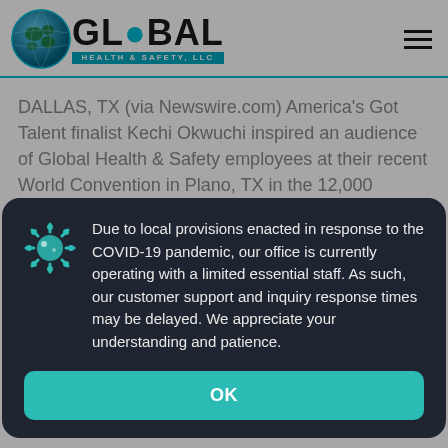[Figure (logo): Global Health & Safety LLC logo with globe graphic]
DALLAS, TX (via Newswire.com) America’s Got Talent finalist Kechi Okwuchi inspired an audience of Global Health & Safety employees at their recent World Convention in Plano, TX in the 12,000 square foot Trinity Ballroom at the Marriott Legacy Park. Kechi performed her rendition of the National Anthem to launch…
Due to local provisions enacted in response to the COVID-19 pandemic, our office is currently operating with a limited essential staff. As such, our customer support and inquiry response times may be delayed. We appreciate your understanding and patience.
OK